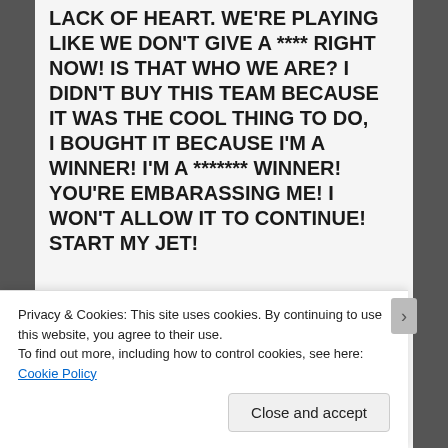LACK OF HEART. WE'RE PLAYING LIKE WE DON'T GIVE A **** RIGHT NOW! IS THAT WHO WE ARE? I DIDN'T BUY THIS TEAM BECAUSE IT WAS THE COOL THING TO DO, I BOUGHT IT BECAUSE I'M A WINNER! I'M A ******* WINNER! YOU'RE EMBARASSING ME! I WON'T ALLOW IT TO CONTINUE! START MY JET!
[Figure (screenshot): App advertisement screenshot showing a blue-themed mobile app interface on the left with tiled images including palm trees and food, and a blue panel on the right with the text 'for life' and a 'Get the app' button.]
Privacy & Cookies: This site uses cookies. By continuing to use this website, you agree to their use.
To find out more, including how to control cookies, see here: Cookie Policy
Close and accept